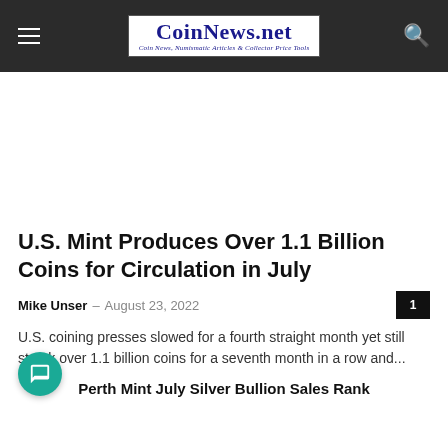CoinNews.net — Coin News, Numismatic Articles & Collector Price Tools
U.S. Mint Produces Over 1.1 Billion Coins for Circulation in July
Mike Unser – August 23, 2022
U.S. coining presses slowed for a fourth straight month yet still struck over 1.1 billion coins for a seventh month in a row and...
Perth Mint July Silver Bullion Sales Rank